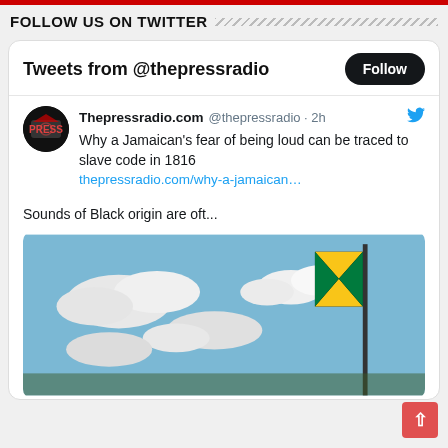FOLLOW US ON TWITTER
Tweets from @thepressradio
Thepressradio.com @thepressradio · 2h
Why a Jamaican's fear of being loud can be traced to slave code in 1816
thepressradio.com/why-a-jamaican…

Sounds of Black origin are oft...
[Figure (photo): Jamaican flag flying on a pole against a blue sky with white clouds]